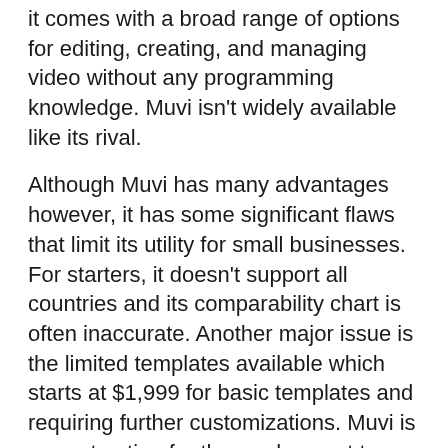it comes with a broad range of options for editing, creating, and managing video without any programming knowledge. Muvi isn't widely available like its rival.
Although Muvi has many advantages however, it has some significant flaws that limit its utility for small businesses. For starters, it doesn't support all countries and its comparability chart is often inaccurate. Another major issue is the limited templates available which starts at $1,999 for basic templates and requiring further customizations. Muvi is a great option for those who want to use the service exclusively for personaluse, not for commercial purposes.